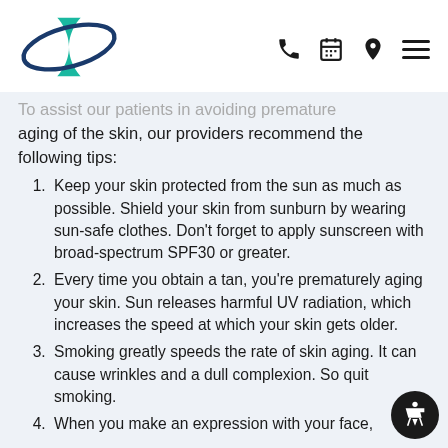[Logo] Refresh Dermatology — navigation icons: phone, calendar, location, menu
To assist our patients in avoiding premature aging of the skin, our providers recommend the following tips:
Keep your skin protected from the sun as much as possible. Shield your skin from sunburn by wearing sun-safe clothes. Don't forget to apply sunscreen with broad-spectrum SPF30 or greater.
Every time you obtain a tan, you're prematurely aging your skin. Sun releases harmful UV radiation, which increases the speed at which your skin gets older.
Smoking greatly speeds the rate of skin aging. It can cause wrinkles and a dull complexion. So quit smoking.
When you make an expression with your face,